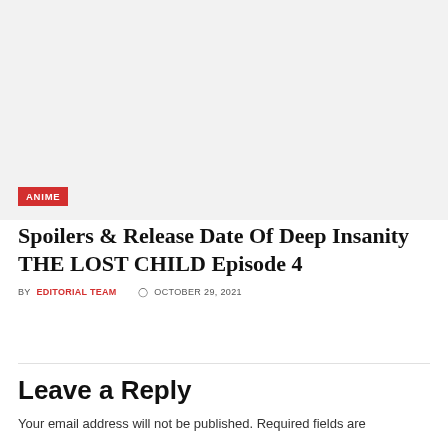[Figure (photo): Light gray placeholder image block with an ANIME category badge in red at the bottom left]
Spoilers & Release Date Of Deep Insanity THE LOST CHILD Episode 4
BY EDITORIAL TEAM  OCTOBER 29, 2021
Leave a Reply
Your email address will not be published. Required fields are